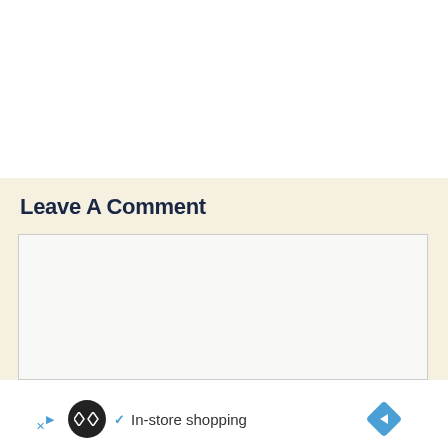Leave A Comment
[Figure (screenshot): Empty comment text area input box with light border]
[Figure (infographic): Advertisement bar with Loops.io logo, checkmark, 'In-store shopping' text, and navigation arrow diamond icon]